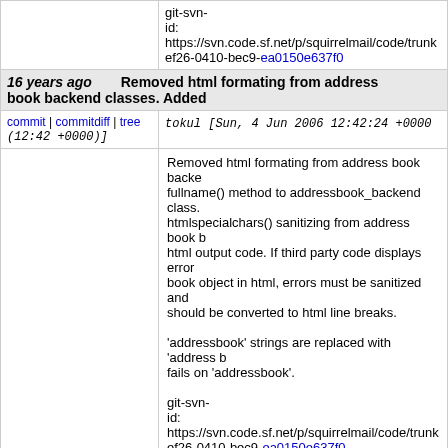git-svn-id: https://svn.code.sf.net/p/squirrelmail/code/trunk ef26-0410-bec9-ea0150e637f0
16 years ago book backend classes. Added  Removed html formating from address
commit | commitdiff | tree (12:42 +0000)]  tokul [Sun, 4 Jun 2006 12:42:24 +0000
Removed html formating from address book backend classes. Added fullname() method to addressbook_backend class. Removed htmlspecialchars() sanitizing from address book backends html output code. If third party code displays errors in address book object in html, errors must be sanitized and newlines should be converted to html line breaks.

'addressbook' strings are replaced with 'address book' if preg fails on 'addressbook'.

git-svn-id: https://svn.code.sf.net/p/squirrelmail/code/trunk ef26-0410-bec9-ea0150e637f0
16 years ago style.php  sq_mt_randomize() is not available in
commit | commitdiff | tree (09:57 +0000)]  tokul [Sun, 4 Jun 2006 09:57:20 +0000